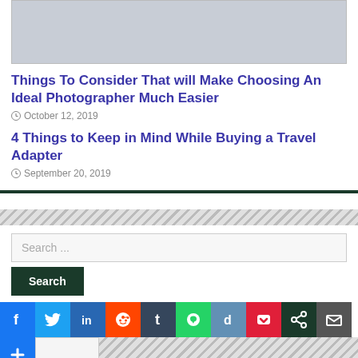[Figure (photo): Gray placeholder image for article]
Things To Consider That will Make Choosing An Ideal Photographer Much Easier
October 12, 2019
4 Things to Keep in Mind While Buying a Travel Adapter
September 20, 2019
Search ...
Search
[Figure (screenshot): Social media sharing icons: Facebook, Twitter, LinkedIn, Reddit, Tumblr, WhatsApp, Digg, Pocket, Copy, Email, AddThis plus button]